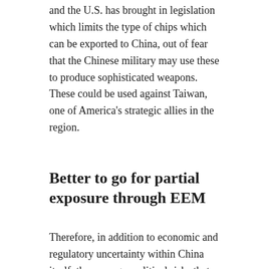and the U.S. has brought in legislation which limits the type of chips which can be exported to China, out of fear that the Chinese military may use these to produce sophisticated weapons. These could be used against Taiwan, one of America's strategic allies in the region.
Better to go for partial exposure through EEM
Therefore, in addition to economic and regulatory uncertainty within China itself, there are geopolitical risks that can impact the country's trade with the U.S. This can result in MCHI becoming highly volatile. However, China remains the second largest economy in the world and value investors like Charlie Munger and venture capitalists like Ray Dalio have been in the game since a long time.